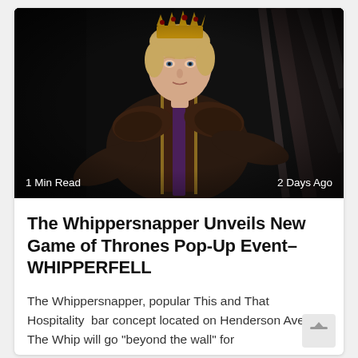[Figure (photo): Young man wearing a golden crown seated on the Iron Throne (from Game of Thrones), dressed in ornate medieval costume with purple and gold detailing. Dark, dramatic lighting.]
1 Min Read
2 Days Ago
The Whippersnapper Unveils New Game of Thrones Pop-Up Event–WHIPPERFELL
The Whippersnapper, popular This and That Hospitality bar concept located on Henderson Avenue. The Whip will go "beyond the wall" for